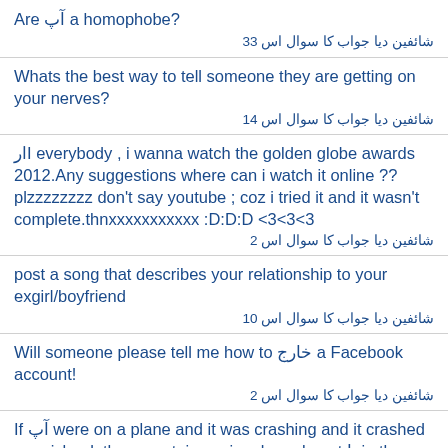Are آپ a homophobe?
شائفین دیا جواب کا سوال اس 33
Whats the best way to tell someone they are getting on your nerves?
شائفین دیا جواب کا سوال اس 14
ارI everybody , i wanna watch the golden globe awards 2012.Any suggestions where can i watch it online ?? plzzzzzzzz don't say youtube ; coz i tried it and it wasn't complete.thnxxxxxxxxxxx :D:D:D <3<3<3
شائفین دیا جواب کا سوال اس 2
post a song that describes your relationship to your exgirl/boyfriend
شائفین دیا جواب کا سوال اس 10
Will someone please tell me how to خارج a Facebook account!
شائفین دیا جواب کا سوال اس 2
If آپ were on a plane and it was crashing and it crashed on a island, the mountains, a jungle, a desert یا in the middle of the ocean and the plane was going to blow up in 10mins and آپ and your دوستوں had to gather 8 things...